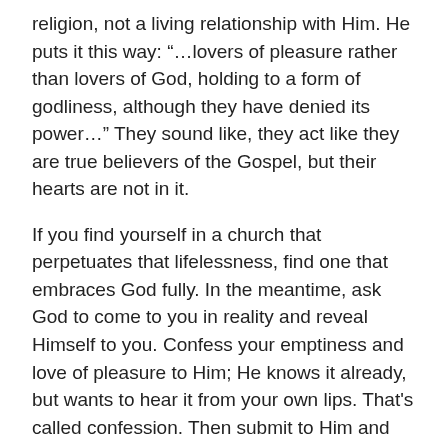religion, not a living relationship with Him. He puts it this way: “…lovers of pleasure rather than lovers of God, holding to a form of godliness, although they have denied its power…” They sound like, they act like they are true believers of the Gospel, but their hearts are not in it.
If you find yourself in a church that perpetuates that lifelessness, find one that embraces God fully. In the meantime, ask God to come to you in reality and reveal Himself to you. Confess your emptiness and love of pleasure to Him; He knows it already, but wants to hear it from your own lips. That’s called confession. Then submit to Him and His will for your life. Read His words to you in the Bible. Think about what you read. Obey it. You will see your own life transformed as only God can do.
Then, at Christmas and always, you can sing, “The First